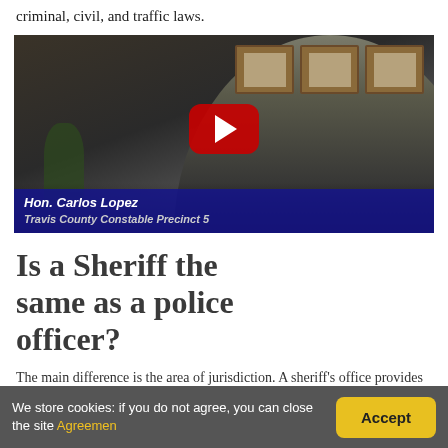criminal, civil, and traffic laws.
[Figure (screenshot): YouTube video thumbnail showing Hon. Carlos Lopez, Travis County Constable Precinct 5, seated at a desk with framed certificates on the wall behind him. A large red YouTube play button is overlaid in the center.]
Is a Sheriff the same as a police officer?
The main difference is the area of jurisdiction. A sheriff's office provides law enforcement
We store cookies: if you do not agree, you can close the site Agreement